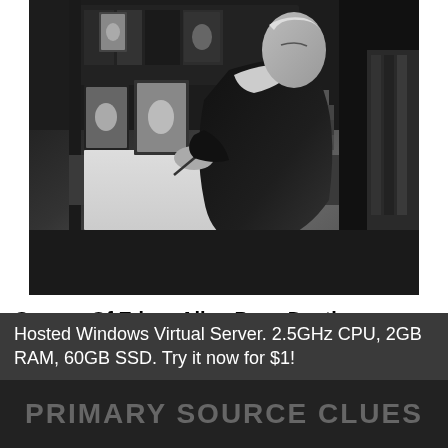[Figure (photo): Black and white photograph of an elderly woman in Victorian-era dress sitting at a desk writing, surrounded by books and framed photographs on shelves behind her. She wears glasses and a lace collar.]
Causes Of Edgar Allan Poes Death
Counselling Skills Reflection - The Role Of Overcrowding In The 19th Century
Hosted Windows Virtual Server. 2.5GHz CPU, 2GB RAM, 60GB SSD. Try it now for $1!
PRIMARY SOURCE CLUES